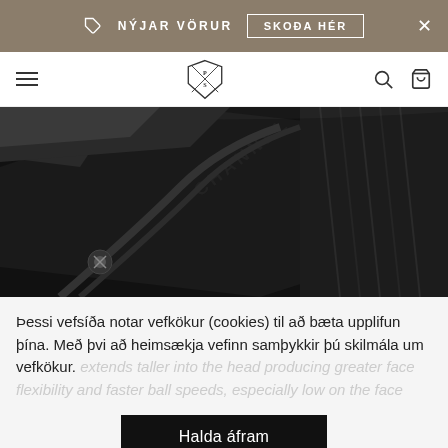NÝJAR VÖRUR   SKOÐA HÉR
[Figure (screenshot): Website navigation bar with hamburger menu, PS logo, search and bag icons]
[Figure (photo): Close-up photo of a dark/black golf club head with 'CHANNEL' text engraved]
Þessi vefsíða notar vefkökur (cookies) til að bæta upplifun þína. Með þvi að heimsækja vefinn samþykkir þú skilmála um vefkökur.
extends taller into the head producing greater face flexibility and faster ball speeds, especially low on the face
Halda áfram